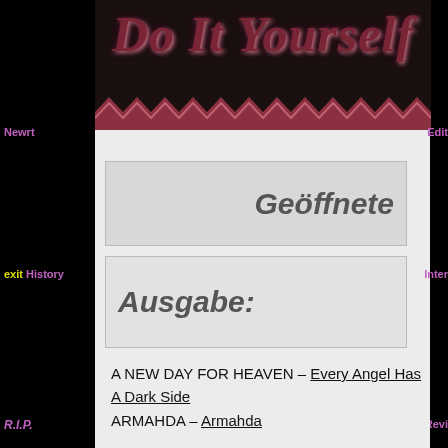[Figure (screenshot): Website header with 'Do It Yourself' stylized title text in dark red/maroon with decorative zigzag bar below]
Newrt
Edit
exit  History
Inter
Geöffnete
Ausgabe:
R.I.P.
Revi
A NEW DAY FOR HEAVEN – Every Angel Has A Dark Side
ARMAHDA – Armahda
Links
Rub
[Figure (infographic): RSS feed icon orange square with white symbol]
This War! Support The Victims.
[Figure (infographic): Social media icons: Instagram, Mastodon, Flickr, Pinterest, phone/other]
here
Search T
search